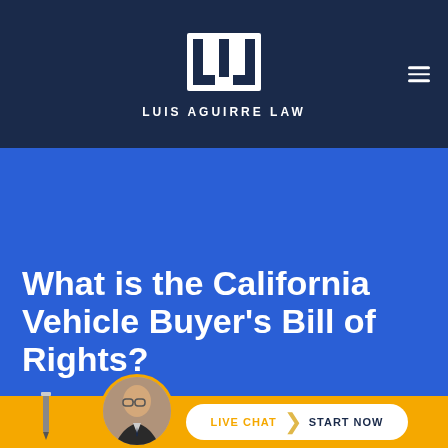[Figure (logo): Luis Aguirre Law logo - white stylized bracket/chevron mark over dark navy background with text LUIS AGUIRRE LAW below]
What is the California Vehicle Buyer’s Bill of Rights?
[Figure (infographic): Live chat bar with attorney photo avatar, gold/orange background, white pill button reading LIVE CHAT > START NOW]